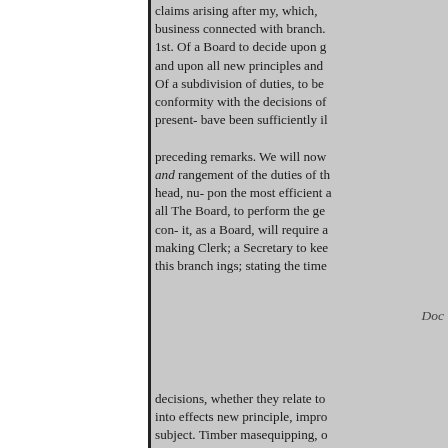claims arising after my, which, business connected with branch. 1st. Of a Board to decide upon g and upon all new principles and Of a subdivision of duties, to be conformity with the decisions of present- bave been sufficiently il preceding remarks. We will now and rangement of the duties of th head, nu- pon the most efficient a all The Board, to perform the ge con- it, as a Board, will require a making Clerk; a Secretary to kee this branch ings; stating the time
Doc
decisions, whether they relate to into effects new principle, impro subject. Timber masequipping, o measure, and receive, all timber, accounts thereof, showing when,